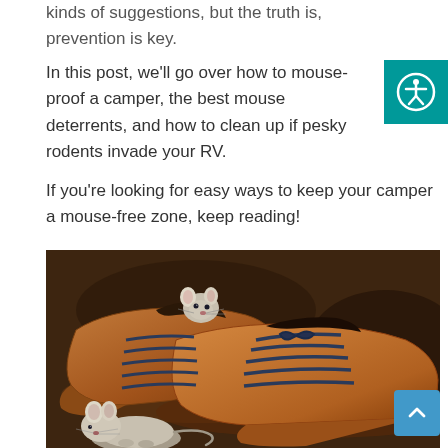kinds of suggestions, but the truth is, prevention is key.
In this post, we'll go over how to mouse-proof a camper, the best mouse deterrents, and how to clean up if pesky rodents invade your RV.
If you're looking for easy ways to keep your camper a mouse-free zone, keep reading!
[Figure (photo): Two mice near a pair of brown leather lace-up shoes on a wooden surface. One mouse is peeking out from inside the left shoe, another smaller mouse sits in front of the shoes.]